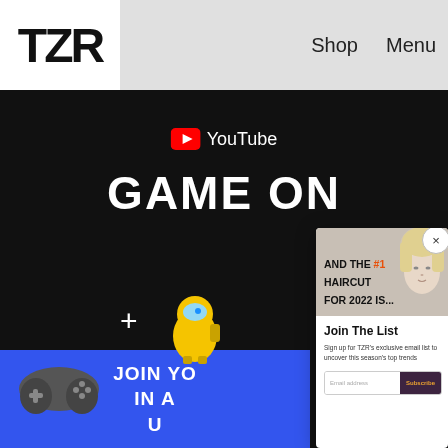TZR  Shop  Menu
[Figure (screenshot): YouTube branded black video thumbnail with 'GAME ON' text in white bold letters, YouTube logo at top center, blue banner at bottom left reading 'JOIN YO IN A U', a plus sign and Among Us yellow character visible, and a PlayStation controller icon]
AND THE #1 HAIRCUT FOR 2022 IS...
Join The List
Sign up for TZR's exclusive email list to uncover this season's top trends
Email address  Subscribe